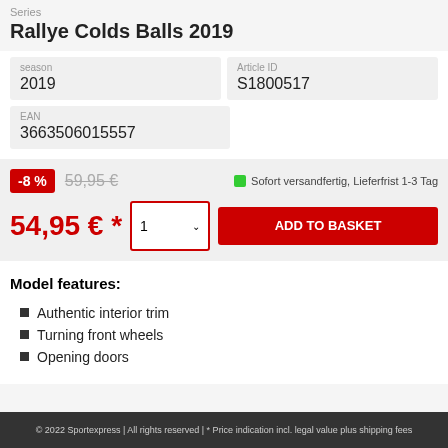Series
Rallye Colds Balls 2019
| season | Article ID |
| --- | --- |
| 2019 | S1800517 |
| EAN |
| --- |
| 3663506015557 |
-8%  59,95 €  Sofort versandfertig, Lieferfrist 1-3 Tag
54,95 € *  1  ADD TO BASKET
Model features:
Authentic interior trim
Turning front wheels
Opening doors
© 2022 Sportexpress | All rights reserved | * Price indication incl. legal value plus shipping fees